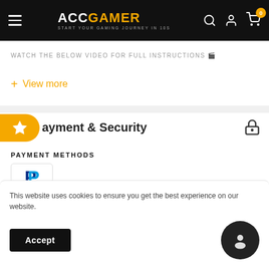ACCGAMER - START YOUR GAMING JOURNEY IN 10S
WATCH THE BELOW VIDEO FOR FULL INSTRUCTIONS 🎬
+ View more
Payment & Security
PAYMENT METHODS
[Figure (logo): PayPal logo in a bordered box]
This website uses cookies to ensure you get the best experience on our website.
Accept